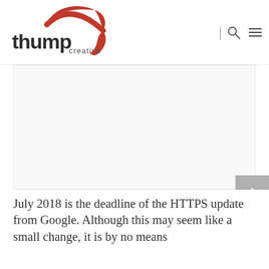Thump Creative logo, search icon, menu icon
[Figure (photo): Large white/blank content area representing an image placeholder]
July 2018 is the deadline of the HTTPS update from Google. Although this may seem like a small change, it is by no means